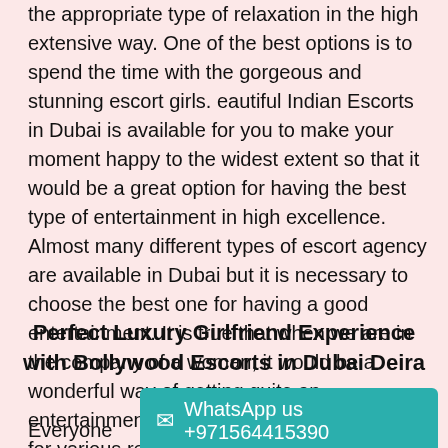the appropriate type of relaxation in the high extensive way. One of the best options is to spend the time with the gorgeous and stunning escort girls. eautiful Indian Escorts in Dubai is available for you to make your moment happy to the widest extent so that it would be a great option for having the best type of entertainment in high excellence. Almost many different types of escort agency are available in Dubai but it is necessary to choose the best one for having a good entertainment. It is true that when we are in the company of a woman, it would be a wonderful way of getting quite an entertainment so when you are visiting Dubai for various reasons then you can have a best entertainment being with the gorgeous escort girl.
Perfect Luxury Girlfriend Experience with Bollywood Escorts in Dubai Deira
Everyone like getting the best entertainment in life. The amazing